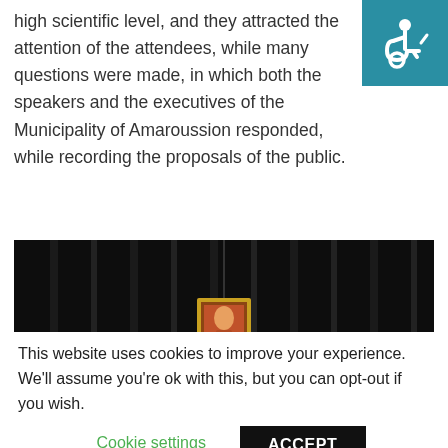[Figure (logo): Accessibility icon — white wheelchair symbol on teal/blue-green background]
high scientific level, and they attracted the attention of the attendees, while many questions were made, in which both the speakers and the executives of the Municipality of Amaroussion responded, while recording the proposals of the public.
[Figure (photo): Dark curtained stage with a gold-framed icon/painting hanging in the center and a white 'Life Online' logo sign on the right side]
This website uses cookies to improve your experience. We'll assume you're ok with this, but you can opt-out if you wish.
Cookie settings   ACCEPT